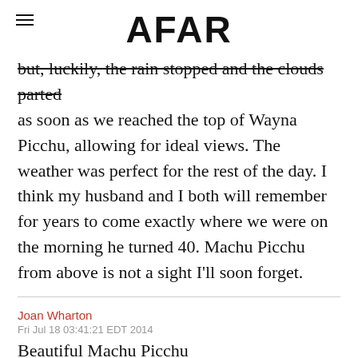AFAR
but, luckily, the rain stopped and the clouds parted as soon as we reached the top of Wayna Picchu, allowing for ideal views. The weather was perfect for the rest of the day. I think my husband and I both will remember for years to come exactly where we were on the morning he turned 40. Machu Picchu from above is not a sight I'll soon forget.
Joan Wharton
Fri Jul 18 03:41:21 EDT 2014
Beautiful Machu Picchu
To celebrate my husband's 40th birthday, I planned a trip to Peru for the two of us, culminating in a visit to